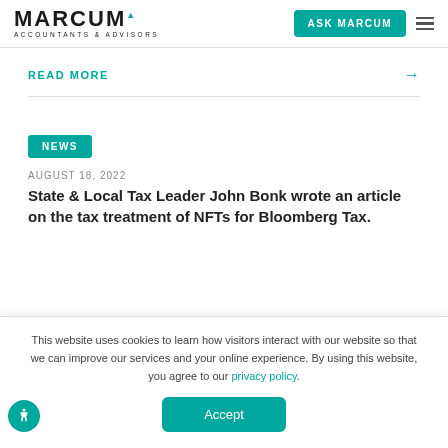MARCUM ACCOUNTANTS & ADVISORS | ASK MARCUM
READ MORE →
NEWS
AUGUST 18, 2022
State & Local Tax Leader John Bonk wrote an article on the tax treatment of NFTs for Bloomberg Tax.
This website uses cookies to learn how visitors interact with our website so that we can improve our services and your online experience. By using this website, you agree to our privacy policy.
Accept